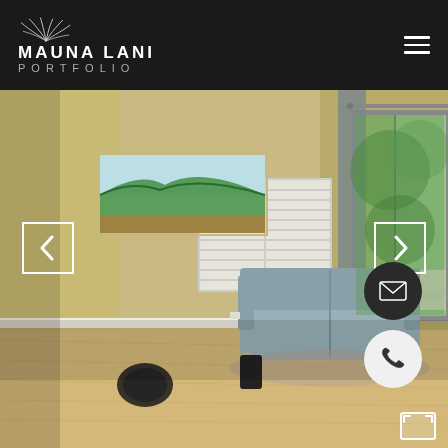[Figure (logo): Mauna Lani Portfolio logo with palm frond graphic, white text MAUNA LANI and grey text PORTFOLIO on dark background]
[Figure (photo): Interior living room photo showing a beige/yellow-walled room with a couch, hardwood floors, plantation shutters on windows, a sliding glass door with grey curtains, and a landscape painting on the wall]
[Figure (other): Navigation chevron left arrow button (white outlined square)]
[Figure (other): Navigation chevron right arrow button (white outlined square)]
[Figure (other): Email contact button (dark circle with white envelope icon)]
[Figure (other): Phone contact button (light circle with dark phone icon)]
[Figure (other): Expand/fullscreen icon at bottom right corner]